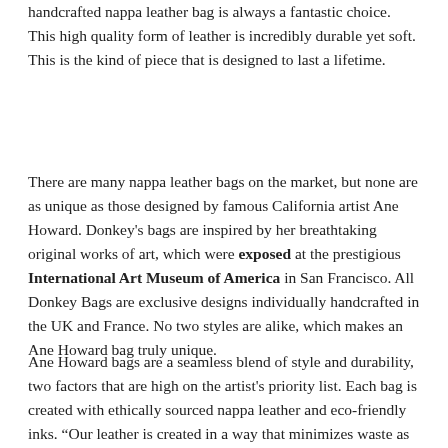handcrafted nappa leather bag is always a fantastic choice. This high quality form of leather is incredibly durable yet soft. This is the kind of piece that is designed to last a lifetime.
There are many nappa leather bags on the market, but none are as unique as those designed by famous California artist Ane Howard. Donkey's bags are inspired by her breathtaking original works of art, which were exposed at the prestigious International Art Museum of America in San Francisco. All Donkey Bags are exclusive designs individually handcrafted in the UK and France. No two styles are alike, which makes an Ane Howard bag truly unique.
Ane Howard bags are a seamless blend of style and durability, two factors that are high on the artist's priority list. Each bag is created with ethically sourced nappa leather and eco-friendly inks. “Our leather is created in a way that minimizes waste as much as possible, as a by-product of the meat industry,” said Ane Howard. All Ane Howard bags are made to order, a practice that reduces waste and overproduction. Each style can be 100% vegan for those leading